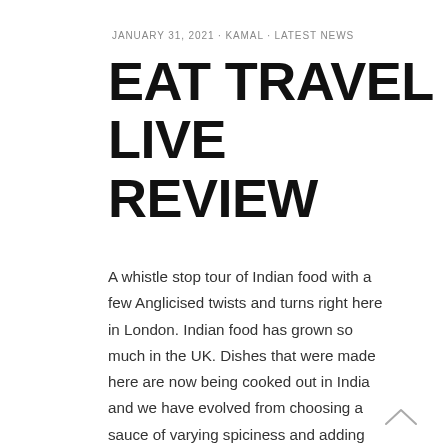JANUARY 31, 2021 · KAMAL · LATEST NEWS
EAT TRAVEL LIVE REVIEW
A whistle stop tour of Indian food with a few Anglicised twists and turns right here in London. Indian food has grown so much in the UK. Dishes that were made here are now being cooked out in India and we have evolved from choosing a sauce of varying spiciness and adding meat, fish or shudder vegetables. We now have regional cuisines, Michelin stars and fabulous Indian street food. Est. India was a collision of all of this. It was eclectic and